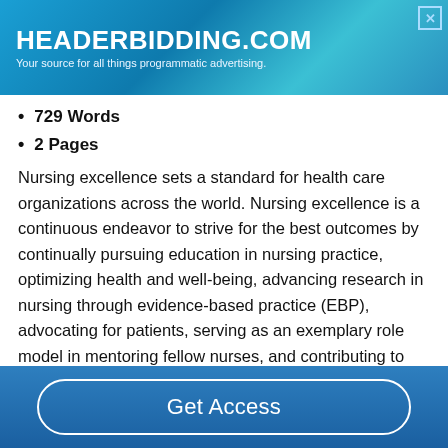[Figure (other): Advertisement banner for HEADERBIDDING.COM with tagline 'Your source for all things programmatic advertising.']
729 Words
2 Pages
Nursing excellence sets a standard for health care organizations across the world. Nursing excellence is a continuous endeavor to strive for the best outcomes by continually pursuing education in nursing practice, optimizing health and well-being, advancing research in nursing through evidence-based practice (EBP), advocating for patients, serving as an exemplary role model in mentoring fellow nurses, and contributing to nursing organizations, political
Get Access